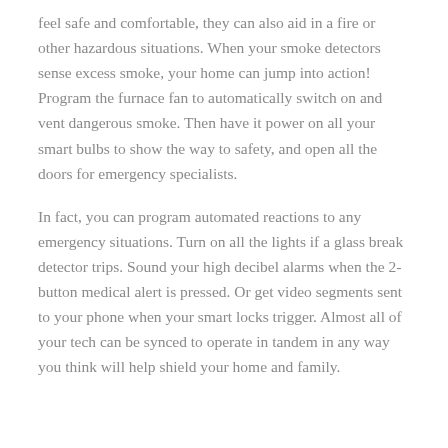feel safe and comfortable, they can also aid in a fire or other hazardous situations. When your smoke detectors sense excess smoke, your home can jump into action! Program the furnace fan to automatically switch on and vent dangerous smoke. Then have it power on all your smart bulbs to show the way to safety, and open all the doors for emergency specialists.
In fact, you can program automated reactions to any emergency situations. Turn on all the lights if a glass break detector trips. Sound your high decibel alarms when the 2-button medical alert is pressed. Or get video segments sent to your phone when your smart locks trigger. Almost all of your tech can be synced to operate in tandem in any way you think will help shield your home and family.